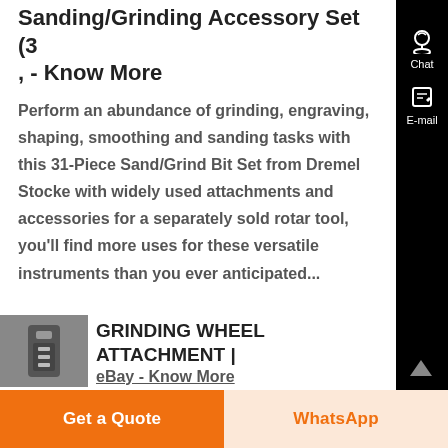Sanding/Grinding Accessory Set (3, - Know More
Perform an abundance of grinding, engraving, shaping, smoothing and sanding tasks with this 31-Piece Sand/Grind Bit Set from Dremel Stocked with widely used attachments and accessories for a separately sold rotary tool, you'll find more uses for these versatile instruments than you ever anticipated...
[Figure (photo): Small thumbnail image of a grinding wheel attachment product in grayscale]
GRINDING WHEEL ATTACHMENT | eBay - Know More